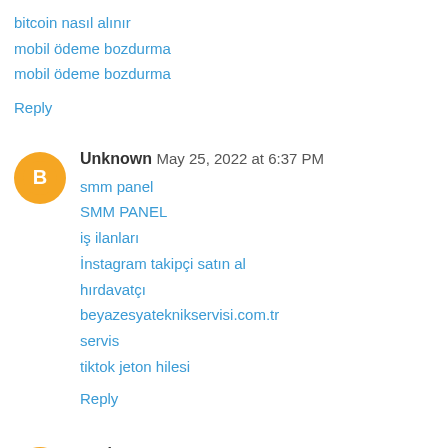bitcoin nasıl alınır
mobil ödeme bozdurma
mobil ödeme bozdurma
Reply
Unknown  May 25, 2022 at 6:37 PM
smm panel
SMM PANEL
iş ilanları
İnstagram takipçi satın al
hırdavatçı
beyazesyateknikservisi.com.tr
servis
tiktok jeton hilesi
Reply
peshesm  June 12, 2022 at 8:54 AM
essayez ici sacs de répliques AAA visiter le site meilleurs sacs de répliques passez sur ce site Web